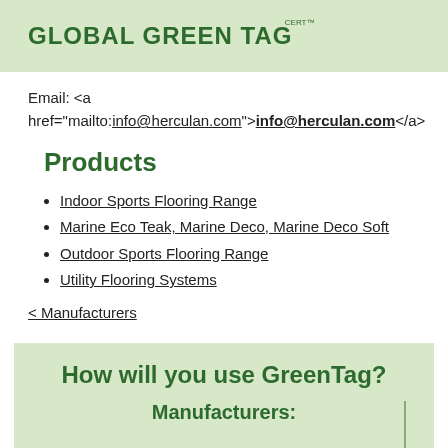GLOBAL GREEN TAG CertTM
Email: <a href="mailto:info@herculan.com">info@herculan.com</a>
Products
Indoor Sports Flooring Range
Marine Eco Teak, Marine Deco, Marine Deco Soft
Outdoor Sports Flooring Range
Utility Flooring Systems
< Manufacturers
How will you use GreenTag?
Manufacturers: